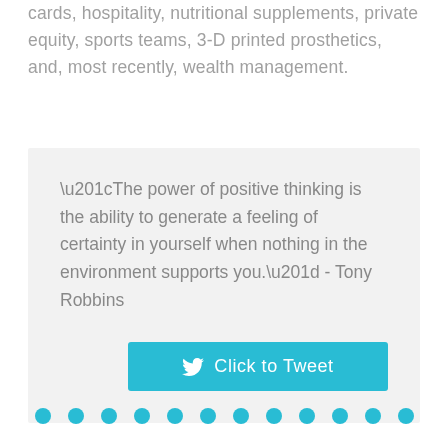cards, hospitality, nutritional supplements, private equity, sports teams, 3-D printed prosthetics, and, most recently, wealth management.
“The power of positive thinking is the ability to generate a feeling of certainty in yourself when nothing in the environment supports you.” - Tony Robbins
[Figure (other): A row of 12 teal circular dots used as a decorative page element or pagination indicator]